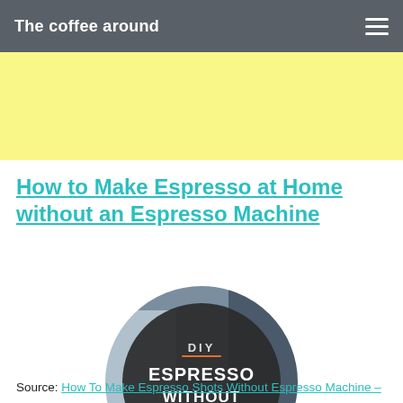The coffee around
How to Make Espresso at Home without an Espresso Machine
[Figure (illustration): Circular badge with dark background showing text: DIY ESPRESSO WITHOUT MACHINE with a coffee cup icon, surrounded by photos of espresso machine equipment]
Source: How To Make Espresso Shots Without Espresso Machine –